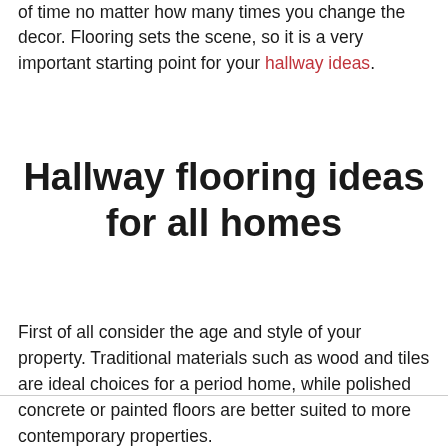that is easy to clean, maintain and will stand the test of time no matter how many times you change the decor. Flooring sets the scene, so it is a very important starting point for your hallway ideas.
Hallway flooring ideas for all homes
First of all consider the age and style of your property. Traditional materials such as wood and tiles are ideal choices for a period home, while polished concrete or painted floors are better suited to more contemporary properties.